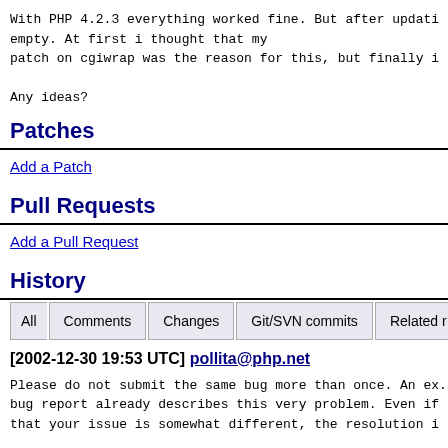With PHP 4.2.3 everything worked fine. But after updati
empty. At first i thought that my
patch on cgiwrap was the reason for this, but finally i

Any ideas?
Patches
Add a Patch
Pull Requests
Add a Pull Request
History
[2002-12-30 19:53 UTC] pollita@php.net
Please do not submit the same bug more than once. An ex.
bug report already describes this very problem. Even if
that your issue is somewhat different, the resolution i